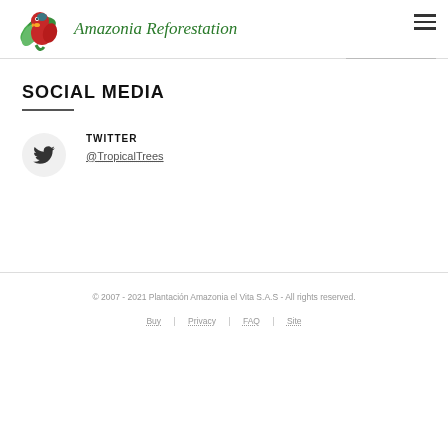Amazonia Reforestation
SOCIAL MEDIA
TWITTER
@TropicalTrees
© 2007 - 2021 Plantación Amazonia el Vita S.A.S - All rights reserved.
Buy | Privacy | FAQ | Site